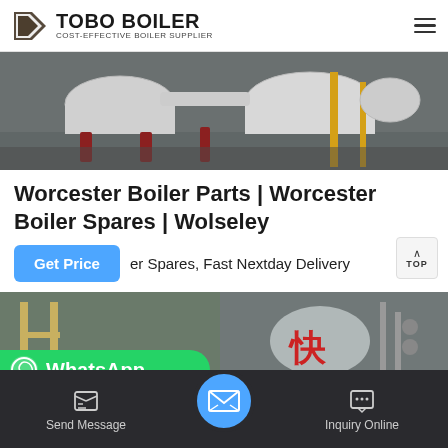TOBO BOILER — COST-EFFECTIVE BOILER SUPPLIER
[Figure (photo): Industrial boiler room showing large white cylindrical boilers with pipes, mounted on frames in a facility with yellow structural poles]
Worcester Boiler Parts | Worcester Boiler Spares | Wolseley
er Spares, Fast Nextday Delivery
[Figure (photo): Industrial boiler equipment and machinery in a facility, partially overlaid by WhatsApp contact bar]
Send Message | Inquiry Online